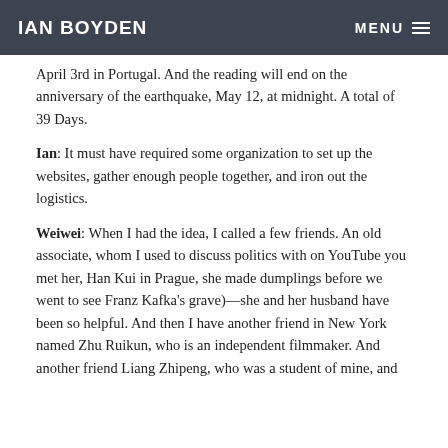IAN BOYDEN
April 3rd in Portugal. And the reading will end on the anniversary of the earthquake, May 12, at midnight. A total of 39 Days.
Ian: It must have required some organization to set up the websites, gather enough people together, and iron out the logistics.
Weiwei: When I had the idea, I called a few friends. An old associate, whom I used to discuss politics with on YouTube you met her, Han Kui in Prague, she made dumplings before we went to see Franz Kafka’s grave)—she and her husband have been so helpful. And then I have another friend in New York named Zhu Ruikun, who is an independent filmmaker. And another friend Liang Zhipeng, who was a student of mine, and